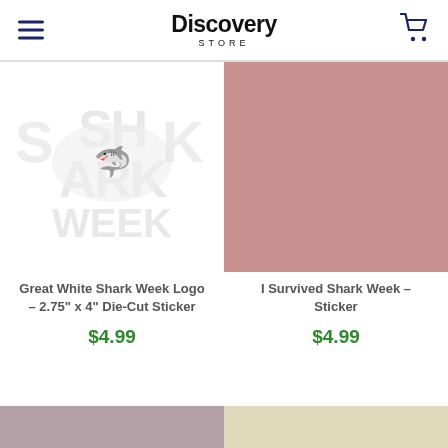Discovery Store
[Figure (photo): Great White Shark Week logo sticker product image — white die-cut sticker with shark week watermark text on white background]
Great White Shark Week Logo – 2.75" x 4" Die-Cut Sticker
$4.99
[Figure (photo): I Survived Shark Week sticker product image — solid dusty rose/pink background]
I Survived Shark Week – Sticker
$4.99
[Figure (photo): Partial product image — mauve/dusty purple background, bottom of page]
[Figure (photo): Partial product image — cream/beige background, bottom of page]